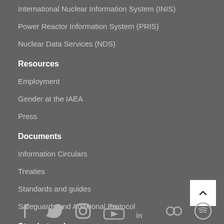International Nuclear Information System (INIS)
Power Reactor Information System (PRIS)
Nuclear Data Services (NDS)
Resources
Employment
Gender at the IAEA
Press
Documents
Information Circulars
Treaties
Standards and guides
Safeguards and Additional Protocol
Stay in touch
[Figure (infographic): Social media icons row: Facebook, Twitter, Instagram, YouTube, LinkedIn, Flickr, Spotify]